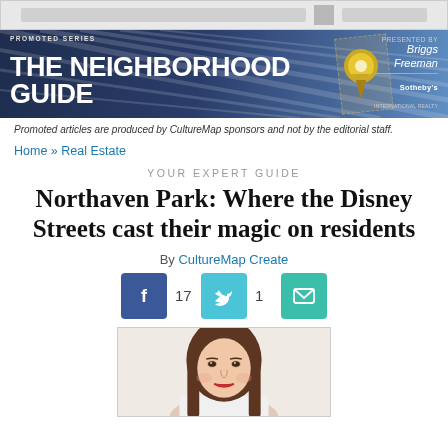[Figure (other): Top banner advertisement with gray bar and small square element]
[Figure (other): The Neighborhood Guide promoted series banner with dark blue background, gold map pin icon, and Briggs Freeman Sotheby's logo on right]
Promoted articles are produced by CultureMap sponsors and not by the editorial staff.
Home » Real Estate
YOUR EXPERT GUIDE
Northaven Park: Where the Disney Streets cast their magic on residents
By CultureMap Create
[Figure (other): Social sharing buttons: Facebook (17), Twitter (1), Email]
[Figure (photo): Photo of a young woman with long brown hair and red lipstick, smiling slightly]